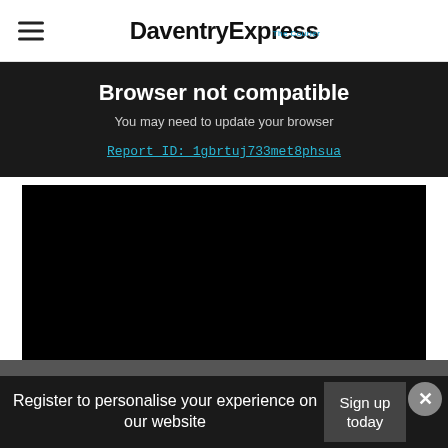DaventryExpress
Browser not compatible
You may need to update your browser
Report ID: 1gbrtuj733met8phsua
[Figure (other): Black video player area with gray band below]
Register to personalise your experience on our website
Sign up today